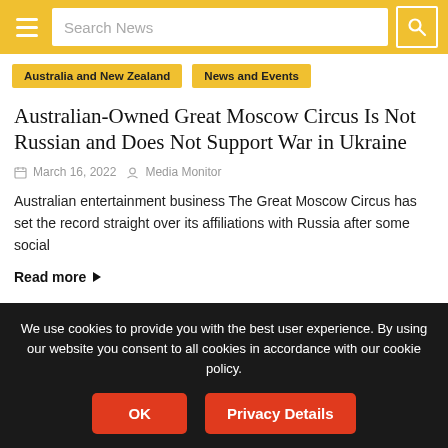Search News
Australia and New Zealand
News and Events
Australian-Owned Great Moscow Circus Is Not Russian and Does Not Support War in Ukraine
March 16, 2022  Media Monitor
Australian entertainment business The Great Moscow Circus has set the record straight over its affiliations with Russia after some social
Read more
We use cookies to provide you with the best user experience. By using our website you consent to all cookies in accordance with our cookie policy.